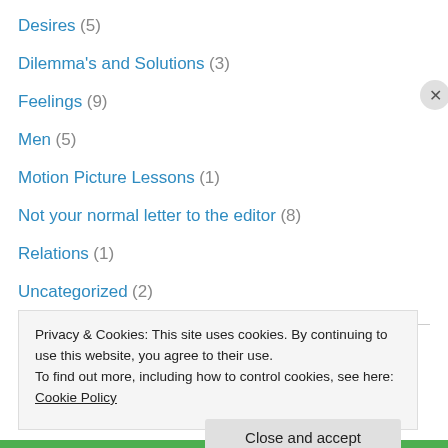Desires (5)
Dilemma's and Solutions (3)
Feelings (9)
Men (5)
Motion Picture Lessons (1)
Not your normal letter to the editor (8)
Relations (1)
Uncategorized (2)
Blogroll
Beyond Awakening
Privacy & Cookies: This site uses cookies. By continuing to use this website, you agree to their use. To find out more, including how to control cookies, see here: Cookie Policy
Close and accept